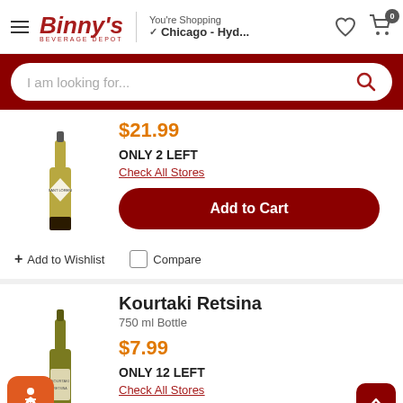Binny's Beverage Depot — You're Shopping Chicago - Hyd...
I am looking for...
$21.99
ONLY 2 LEFT
Check All Stores
Add to Cart
+ Add to Wishlist
Compare
Kourtaki Retsina
750 ml Bottle
$7.99
ONLY 12 LEFT
Check All Stores